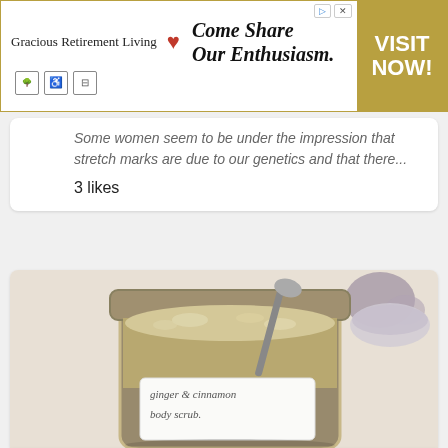[Figure (screenshot): Advertisement banner for Gracious Retirement Living with heart logo, text 'Come Share Our Enthusiasm.' and gold 'VISIT NOW!' button on right]
Some women seem to be under the impression that stretch marks are due to our genetics and that there...
3 likes
[Figure (photo): Photo of a glass jar containing ginger and cinnamon body scrub with a metal spoon, labeled 'ginger & cinnamon body scrub']
Ginger and cinnamon body scrub
This scrub is especially good for the colder months, because of the warming ginger and spicy smells ...
11 likes